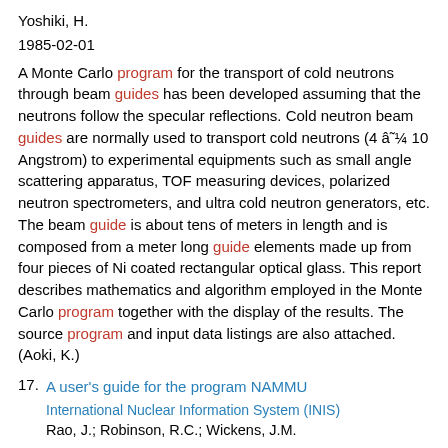Yoshiki, H.
1985-02-01
A Monte Carlo program for the transport of cold neutrons through beam guides has been developed assuming that the neutrons follow the specular reflections. Cold neutron beam guides are normally used to transport cold neutrons (4 â¯¼ 10 Angstrom) to experimental equipments such as small angle scattering apparatus, TOF measuring devices, polarized neutron spectrometers, and ultra cold neutron generators, etc. The beam guide is about tens of meters in length and is composed from a meter long guide elements made up from four pieces of Ni coated rectangular optical glass. This report describes mathematics and algorithm employed in the Monte Carlo program together with the display of the results. The source program and input data listings are also attached. (Aoki, K.)
17. A user's guide for the program NAMMU
International Nuclear Information System (INIS)
Rao, J.; Robinson, R.C.; Wickens, J.M.